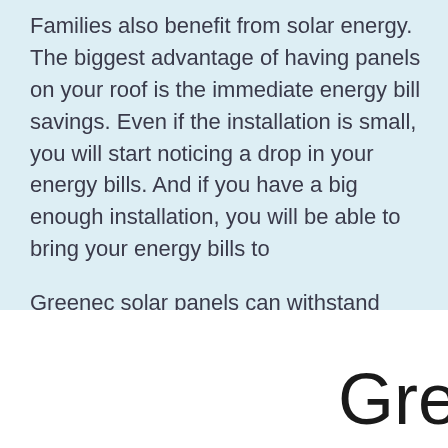Families also benefit from solar energy. The biggest advantage of having panels on your roof is the immediate energy bill savings. Even if the installation is small, you will start noticing a drop in your energy bills. And if you have a big enough installation, you will be able to bring your energy bills to zero.
Greenec solar panels can withstand extreme weather conditions, making them sturdy and cost effective. Here is what sets our panels apart from our competitors' products.
Gre